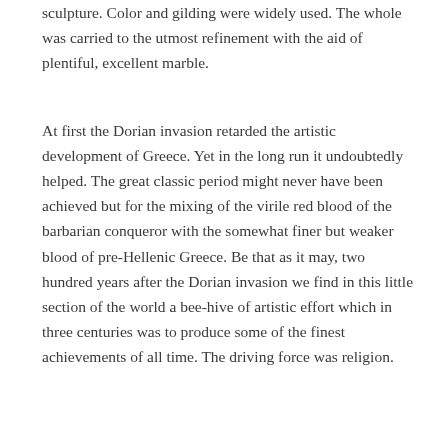sculpture. Color and gilding were widely used. The whole was carried to the utmost refinement with the aid of plentiful, excellent marble.
At first the Dorian invasion retarded the artistic development of Greece. Yet in the long run it undoubtedly helped. The great classic period might never have been achieved but for the mixing of the virile red blood of the barbarian conqueror with the somewhat finer but weaker blood of pre-Hellenic Greece. Be that as it may, two hundred years after the Dorian invasion we find in this little section of the world a bee-hive of artistic effort which in three centuries was to produce some of the finest achievements of all time. The driving force was religion.